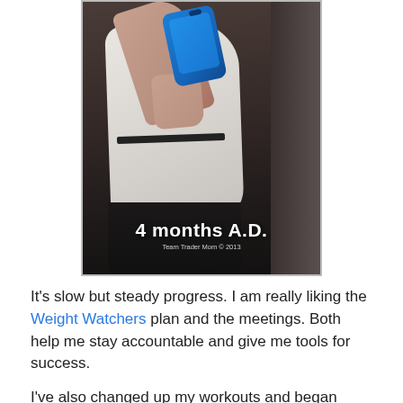[Figure (photo): Mirror selfie photo of a woman wearing a white belted shirt and black pants, holding a blue smartphone. Text overlay reads '4 months A.D.' and watermark 'Team Trader Mom © 2013'.]
It's slow but steady progress. I am really liking the Weight Watchers plan and the meetings. Both help me stay accountable and give me tools for success.
I've also changed up my workouts and began training with